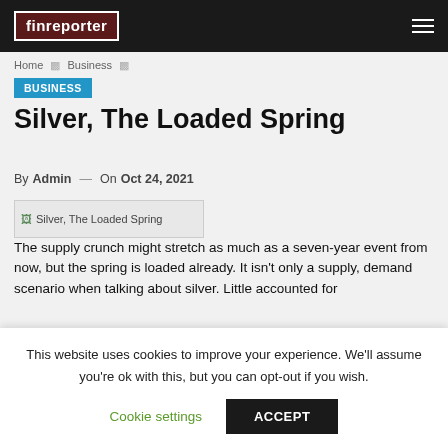finreporter
Home > Business >
BUSINESS
Silver, The Loaded Spring
By Admin — On Oct 24, 2021
[Figure (photo): Silver, The Loaded Spring article image placeholder]
The supply crunch might stretch as much as a seven-year event from now, but the spring is loaded already. It isn't only a supply, demand scenario when talking about silver. Little accounted for
This website uses cookies to improve your experience. We'll assume you're ok with this, but you can opt-out if you wish.
Cookie settings    ACCEPT